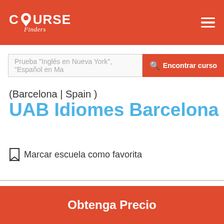COURSE Finders
Prueba "Inglés en Nueva York", "Español en Ma  Encontrar curso
(Barcelona | Spain )
UAB Idiomes Barcelona
Marcar escuela como favorita
[Figure (logo): UAB Idiomes logo in dark background]
Obtenga Precio